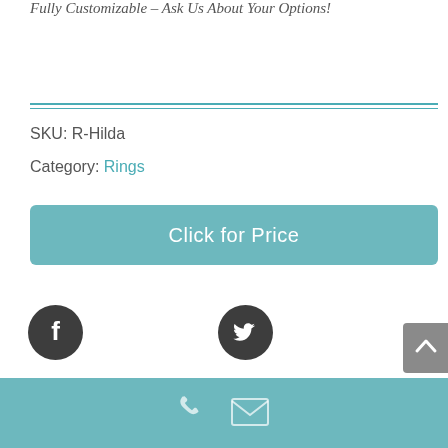Fully Customizable – Ask Us About Your Options!
SKU: R-Hilda
Category: Rings
Click for Price
[Figure (other): Facebook and Twitter social media icons (dark circular buttons), a scroll-to-top button (grey), and a teal footer bar with phone and email icons.]